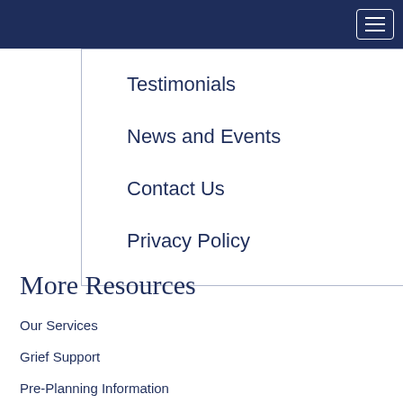Navigation header bar with hamburger menu
Testimonials
News and Events
Contact Us
Privacy Policy
More Resources
Our Services
Grief Support
Pre-Planning Information